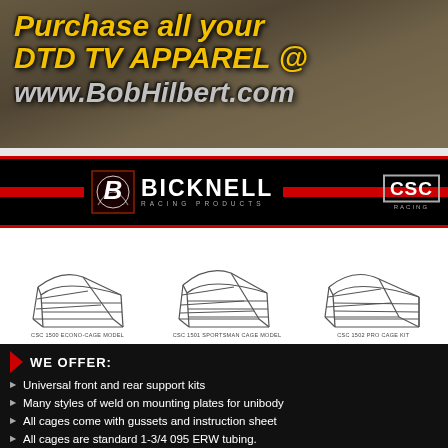[Figure (photo): Advertisement banner with dirt track background showing text: Purchase all your DTD TV APPAREL @ www.BobHilbert.com in yellow and grey italic bold text]
[Figure (logo): Bicknell Racing Products logo with CSC Racing logo on black background with red stripes]
[Figure (illustration): Three wireframe cage model illustrations: CSC 1500 Econo-Cage Model, CSC 1501 Sportsman Cage Model, CSC 1502 Pro Cage Kit]
WE OFFER: Universal front and rear support kits | Many styles of weld on mounting plates for unibody | All cages come with gussets and instruction sheet | All cages are standard 1-3/4 095 ERW tubing.
905 685 4731